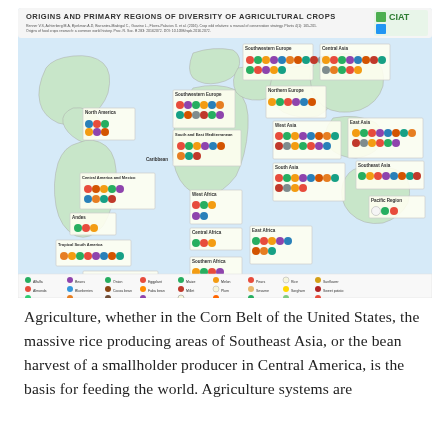[Figure (map): World map infographic titled 'Origins and Primary Regions of Diversity of Agricultural Crops' published by CIAT. The map shows various regions of the world labeled with their primary agricultural crop diversity origins, with food crop icons (fruits, vegetables, grains) placed in each region. Regions include: North America, Central America and Mexico, Andes, Tropical South America, Temperate South America, Caribbean, Southwestern Europe, South and East Mediterranean, West Africa, Central Africa, Southern Africa, East Africa, South Asia, West Asia, Northern Europe, Southwestern Europe, Central Asia, East Asia, Southeast Asia, Pacific Region. A legend at the bottom lists many individual crops with corresponding icons.]
Agriculture, whether in the Corn Belt of the United States, the massive rice producing areas of Southeast Asia, or the bean harvest of a smallholder producer in Central America, is the basis for feeding the world. Agriculture systems are